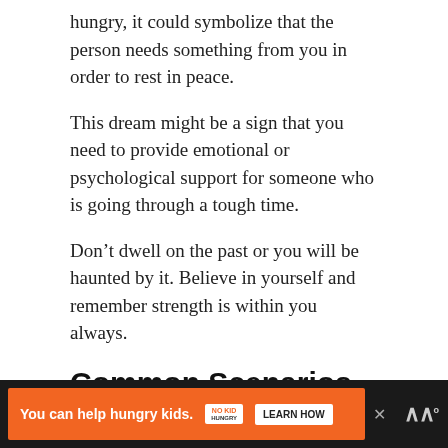hungry, it could symbolize that the person needs something from you in order to rest in peace.
This dream might be a sign that you need to provide emotional or psychological support for someone who is going through a tough time.
Don't dwell on the past or you will be haunted by it. Believe in yourself and remember strength is within you always.
Common Scenarios of Dream about Dead Relative Being Alive
There are several different reasons why you may
[Figure (other): Advertisement banner: orange background with text 'You can help hungry kids.' No Kid Hungry logo and 'LEARN HOW' button on dark background bar]